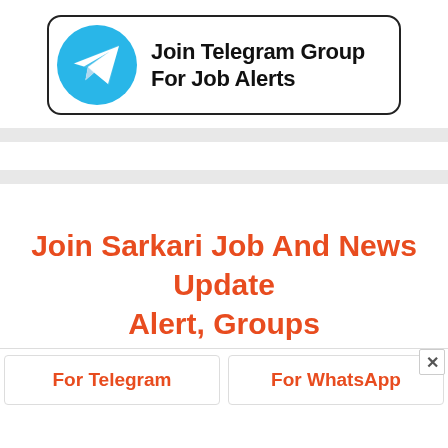[Figure (illustration): Telegram app logo (paper plane icon on blue circle background) next to a rounded-rectangle box with text 'Join Telegram Group For Job Alerts' in bold black]
Join Sarkari Job And News Update Alert, Groups
For Telegram
For WhatsApp